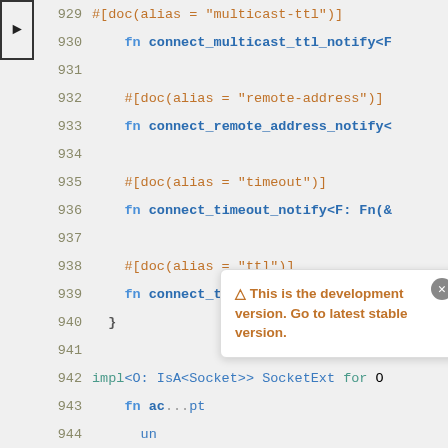[Figure (screenshot): Code editor screenshot showing Rust source code lines 929-947 with syntax highlighting. Lines show #[doc(alias=...)] attributes and fn connect_* function signatures. A tooltip overlay reads: 'This is the development version. Go to latest stable version.' An arrow indicator points to line 930.]
▲ This is the development version. Go to latest stable version.